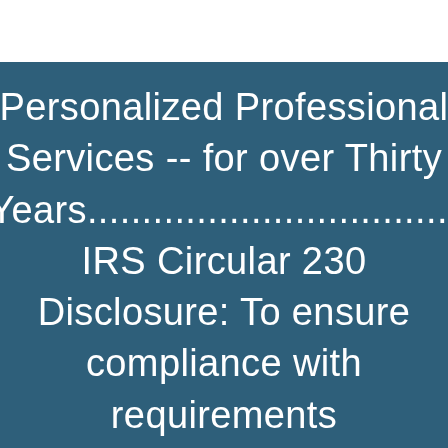Personalized Professional Services -- for over Thirty Years................................. IRS Circular 230 Disclosure: To ensure compliance with requirements